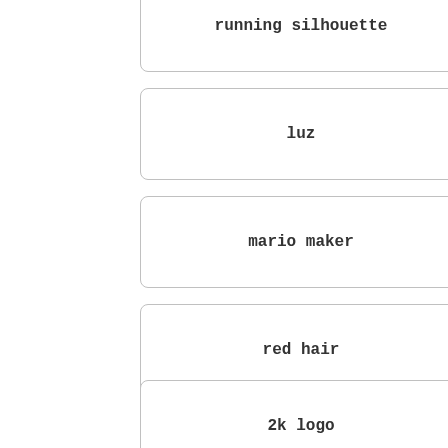running silhouette
luz
mario maker
red hair
2k logo